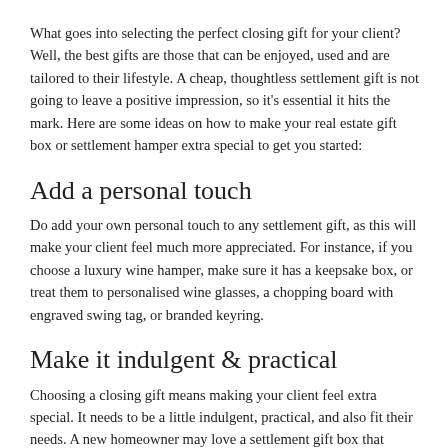What goes into selecting the perfect closing gift for your client? Well, the best gifts are those that can be enjoyed, used and are tailored to their lifestyle. A cheap, thoughtless settlement gift is not going to leave a positive impression, so it's essential it hits the mark. Here are some ideas on how to make your real estate gift box or settlement hamper extra special to get you started:
Add a personal touch
Do add your own personal touch to any settlement gift, as this will make your client feel much more appreciated. For instance, if you choose a luxury wine hamper, make sure it has a keepsake box, or treat them to personalised wine glasses, a chopping board with engraved swing tag, or branded keyring.
Make it indulgent & practical
Choosing a closing gift means making your client feel extra special. It needs to be a little indulgent, practical, and also fit their needs. A new homeowner may love a settlement gift box that includes a host of pampering products after all their hard